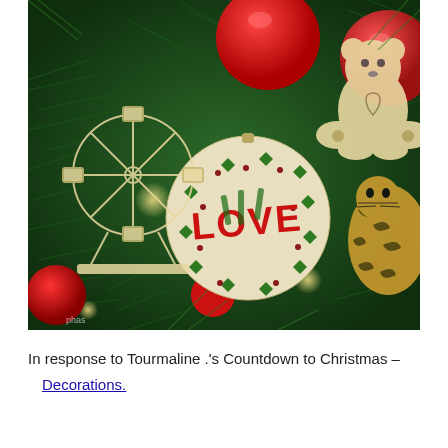[Figure (photo): Close-up photograph of a decorated Christmas tree with green pine branches, large red ornament balls, white/cream laser-cut wooden ornaments featuring a bear figure, a tiger figure, a ferris wheel, a nutcracker-like figure, and a round ornament with 'LOVE' text in red surrounded by green diamond shapes. Warm bokeh lighting visible in background.]
In response to Tourmaline .'s Countdown to Christmas – Decorations.